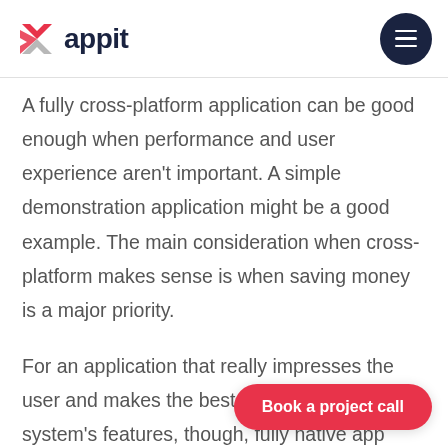[Figure (logo): Appit logo with colorful X mark and dark blue 'appit' wordmark]
A fully cross-platform application can be good enough when performance and user experience aren't important. A simple demonstration application might be a good example. The main consideration when cross-platform makes sense is when saving money is a major priority.
For an application that really impresses the user and makes the best use of the operating system's features, though, fully native app...